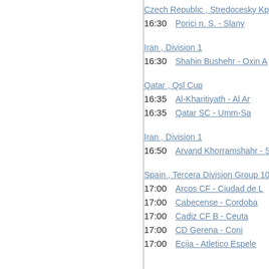Czech Republic , Stredocesky Kp
16:30   Porici n. S. - Slany
Iran , Division 1
16:30   Shahin Bushehr - Oxin A
Qatar , Qsl Cup
16:35   Al-Kharitiyath - Al Ar
16:35   Qatar SC - Umm-Sa
Iran , Division 1
16:50   Arvand Khorramshahr - Shahro
Spain , Tercera Division Group 10
17:00   Arcos CF - Ciudad de L
17:00   Cabecense - Cordoba
17:00   Cadiz CF B - Ceuta
17:00   CD Gerena - Coni
17:00   Ecija - Atletico Espele